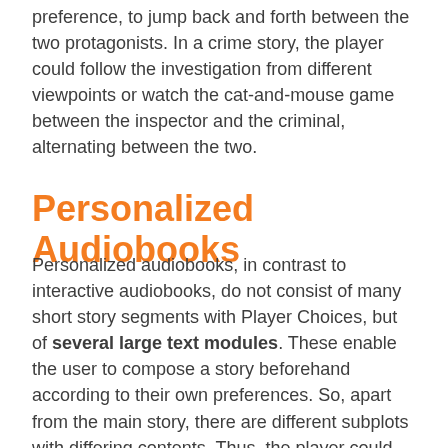preference, to jump back and forth between the two protagonists. In a crime story, the player could follow the investigation from different viewpoints or watch the cat-and-mouse game between the inspector and the criminal, alternating between the two.
Personalized Audiobooks
Personalized audiobooks, in contrast to interactive audiobooks, do not consist of many short story segments with Player Choices, but of several large text modules. These enable the user to compose a story beforehand according to their own preferences. So, apart from the main story, there are different subplots with differing contents. Thus, the player could, for example, decide at the start whether there should be a romance in their audiobook and whether this